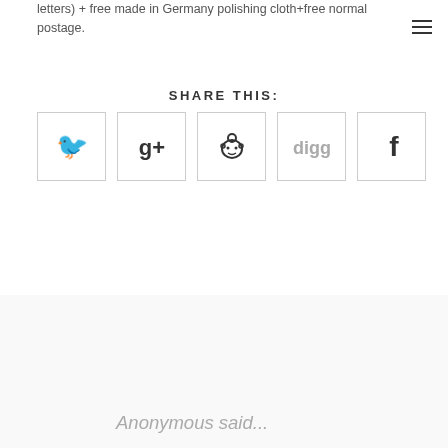letters) + free made in Germany polishing cloth+free normal postage.
SHARE THIS:
[Figure (infographic): Row of five social media sharing icon buttons: Twitter, Google+, Reddit, Digg, Facebook]
Anonymous said...